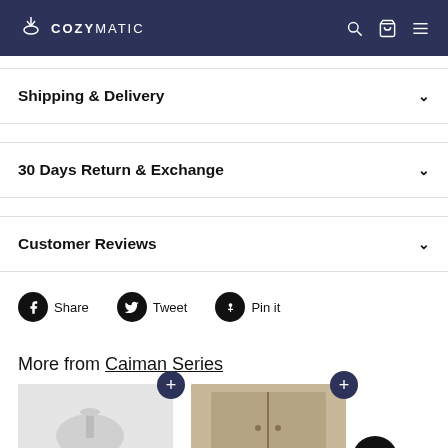COZYMATIC
Shipping & Delivery
30 Days Return & Exchange
Customer Reviews
Share  Tweet  Pin it
More from Caiman Series
[Figure (photo): Product thumbnail images from Caiman Series]